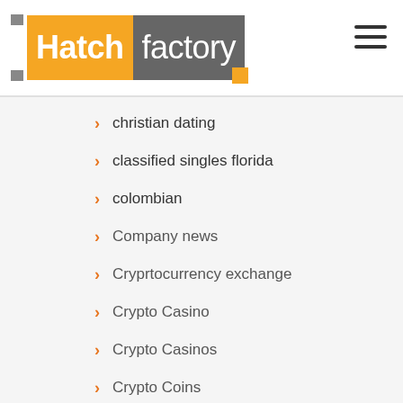[Figure (logo): Hatchfactory logo with orange 'Hatch' block and grey 'factory' block, grey bracket on left, yellow corner bracket at bottom right]
christian dating
classified singles florida
colombian
Company news
Cryprtocurrency exchange
Crypto Casino
Crypto Casinos
Crypto Coins
Crypto Exchange
Crypto News